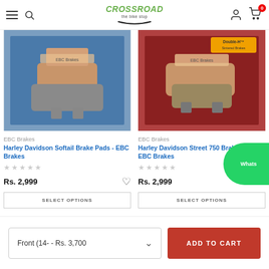Crossroad - The Bike Stop
[Figure (photo): EBC brake pads product photo - Harley Davidson Softail, copper/grey pads on colorful packaging]
EBC Brakes
Harley Davidson Softail Brake Pads - EBC Brakes
Rs. 2,999
[Figure (photo): EBC brake pads product photo - Harley Davidson Street 750, Double-H sintered brakes on red packaging]
EBC Brakes
Harley Davidson Street 750 Brake Pads - EBC Brakes
Rs. 2,999
Front (14- - Rs. 3,700
ADD TO CART